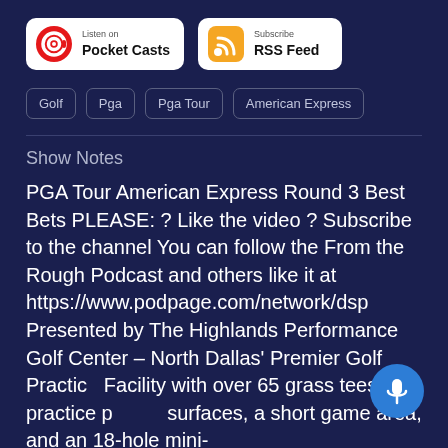[Figure (logo): Listen on Pocket Casts button with red spiral icon]
[Figure (logo): Subscribe RSS Feed button with orange RSS icon]
Golf
Pga
Pga Tour
American Express
Show Notes
PGA Tour American Express Round 3 Best Bets PLEASE: ? Like the video ? Subscribe to the channel You can follow the From the Rough Podcast and others like it at https://www.podpage.com/network/dsp Presented by The Highlands Performance Golf Center – North Dallas' Premier Golf Practice Facility with over 65 grass tees, 2 practice putting surfaces, a short game area, and an 18-hole mini-